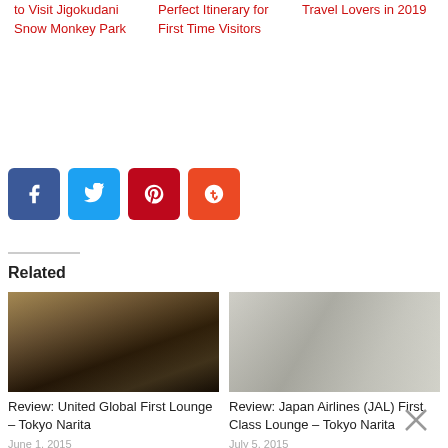to Visit Jigokudani Snow Monkey Park
Perfect Itinerary for First Time Visitors
Travel Lovers in 2019
[Figure (other): Social sharing buttons: Facebook (blue), Twitter (light blue), Pinterest (red), StumbleUpon (orange)]
Related
[Figure (photo): Interior photo of United Global First Lounge at Tokyo Narita – warm-lit lounge seating area with large windows at night]
Review: United Global First Lounge – Tokyo Narita
June 1, 2015
In "Lounge Reviews"
[Figure (photo): Interior photo of Japan Airlines (JAL) First Class Lounge at Tokyo Narita – modern bright lobby with frosted glass partition and floral arrangement]
Review: Japan Airlines (JAL) First Class Lounge – Tokyo Narita
July 5, 2015
In "Lounge Reviews"